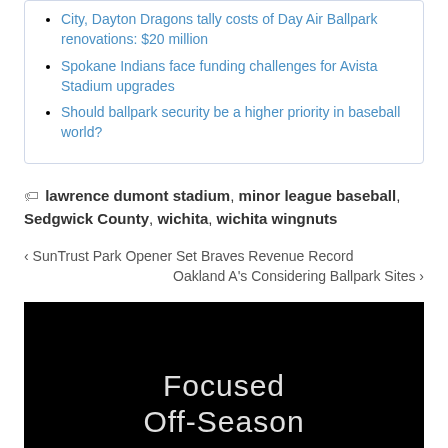City, Dayton Dragons tally costs of Day Air Ballpark renovations: $20 million
Spokane Indians face funding challenges for Avista Stadium upgrades
Should ballpark security be a higher priority in baseball world?
lawrence dumont stadium, minor league baseball, Sedgwick County, wichita, wichita wingnuts
‹ SunTrust Park Opener Set Braves Revenue Record
Oakland A's Considering Ballpark Sites ›
[Figure (other): Black promotional image with white text reading 'Focused Off-Season']